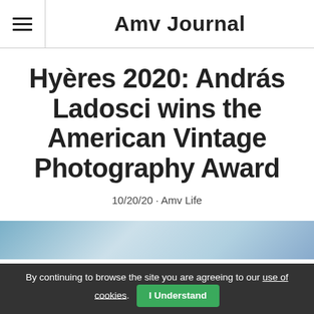Amv Journal
Hyères 2020: András Ladosci wins the American Vintage Photography Award
10/20/20 · Amv Life
[Figure (photo): Partial view of a photograph, partially visible at the bottom of the page]
By continuing to browse the site you are agreeing to our use of cookies. I Understand